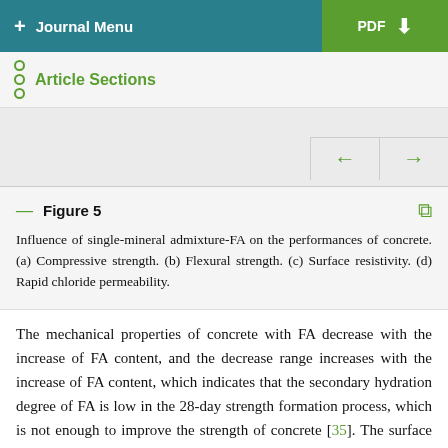+ Journal Menu | PDF
Article Sections
[Figure (other): Figure navigation area with left and right arrow buttons on a grey background]
Figure 5
Influence of single-mineral admixture-FA on the performances of concrete. (a) Compressive strength. (b) Flexural strength. (c) Surface resistivity. (d) Rapid chloride permeability.
The mechanical properties of concrete with FA decrease with the increase of FA content, and the decrease range increases with the increase of FA content, which indicates that the secondary hydration degree of FA is low in the 28-day strength formation process, which is not enough to improve the strength of concrete [35]. The surface resistivity of concrete increases with the increase of FA content. The electric flux of concrete decreases with the increase of FA content. The rapid chloride with the